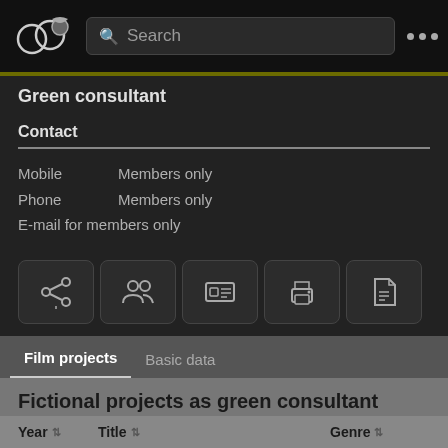[Figure (screenshot): App navigation bar with logo, search field, and three-dot menu]
Green consultant
Contact
Mobile   Members only
Phone   Members only
E-mail for members only
[Figure (other): Row of 5 icon buttons: share, contacts, business card, print, PDF]
Film projects   Basic data
Fictional projects as green consultant
| Year | Title | Genre |
| --- | --- | --- |